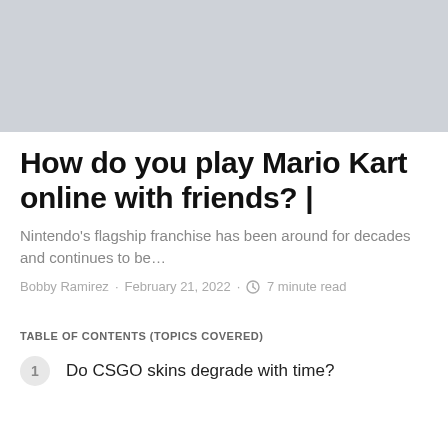[Figure (photo): Light gray placeholder hero image banner at top of article]
How do you play Mario Kart online with friends? |
Nintendo's flagship franchise has been around for decades and continues to be…
Bobby Ramirez · February 21, 2022 · 🕐 7 minute read
TABLE OF CONTENTS (TOPICS COVERED)
1 Do CSGO skins degrade with time?